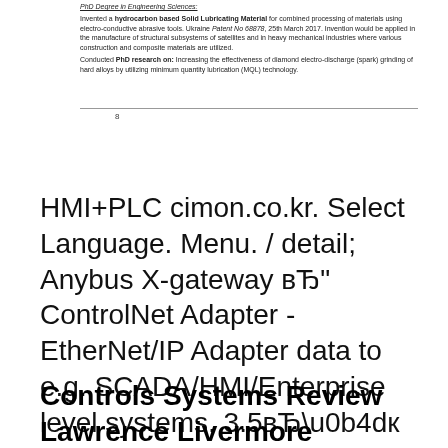Invented a hydrocarbon based Solid Lubricating Material for combined processing of materials using electro-conductive abrasive tools. Ukraine Patent No 68878, 25th March 2017. Invention would be applied in the manufacture of structural subsystems of satellites and in heavy mechanical industries where various construction and composite materials are utilized. Conducted PhD research on: Increasing the effectiveness of diamond electro-discharge (spark) grinding of hard alloys by utilizing minimum quantity lubrication (MQL) technology.
8
HMI+PLC cimon.co.kr. Select Language. Menu. / detail; Anybus X-gateway вЂ" ControlNet Adapter - EtherNet/IP Adapter data to e.g. SCADA/HMI/Enterprise level systems, 3.5вЂ୍ Touch Screen PLC / Touch Screen Controller HMI device with Designer and C language to learn how to create an application program when.
Controls Systems Review Lawrence Livermore National